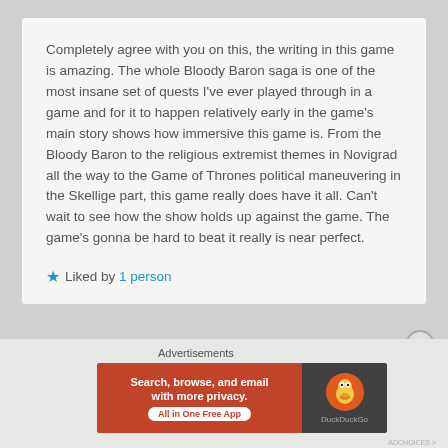Completely agree with you on this, the writing in this game is amazing. The whole Bloody Baron saga is one of the most insane set of quests I've ever played through in a game and for it to happen relatively early in the game's main story shows how immersive this game is. From the Bloody Baron to the religious extremist themes in Novigrad all the way to the Game of Thrones political maneuvering in the Skellige part, this game really does have it all. Can't wait to see how the show holds up against the game. The game's gonna be hard to beat it really is near perfect.
★ Liked by 1 person
Advertisements
[Figure (screenshot): DuckDuckGo advertisement banner with text: Search, browse, and email with more privacy. All in One Free App. DuckDuckGo logo on dark background.]